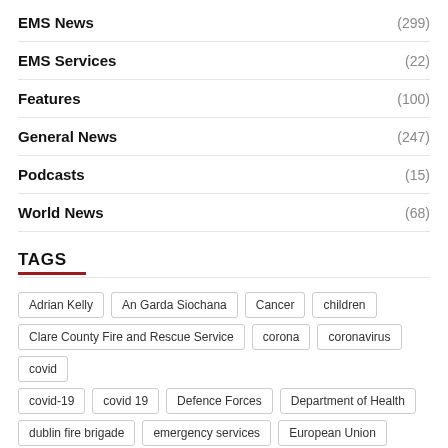EMS News (299)
EMS Services (22)
Features (100)
General News (247)
Podcasts (15)
World News (68)
TAGS
Adrian Kelly
An Garda Siochana
Cancer
children
Clare County Fire and Rescue Service
corona
coronavirus
covid
covid-19
covid 19
Defence Forces
Department of Health
dublin fire brigade
emergency services
European Union
featured
fire and rescue
fire safety
health
healthy ireland